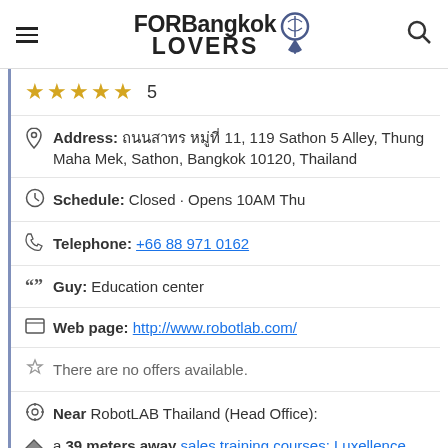FORBangkok LOVERS
★★★★★  5
Address: ถนนสาทร หมู่ที่ 11, 119 Sathon 5 Alley, Thung Maha Mek, Sathon, Bangkok 10120, Thailand
Schedule: Closed · Opens 10AM Thu
Telephone: +66 88 971 0162
Guy: Education center
Web page: http://www.robotlab.com/
There are no offers available.
Near RobotLAB Thailand (Head Office):
a 39 meters away sales training courses: Luxellence Center